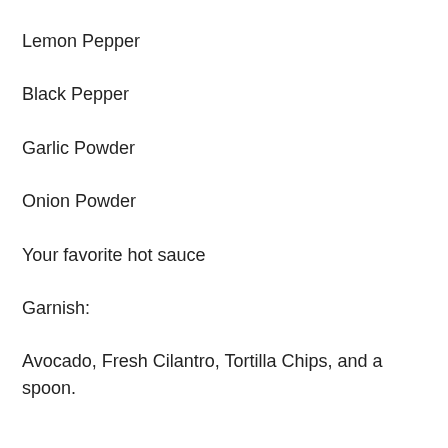Lemon Pepper
Black Pepper
Garlic Powder
Onion Powder
Your favorite hot sauce
Garnish:
Avocado, Fresh Cilantro, Tortilla Chips, and a spoon.